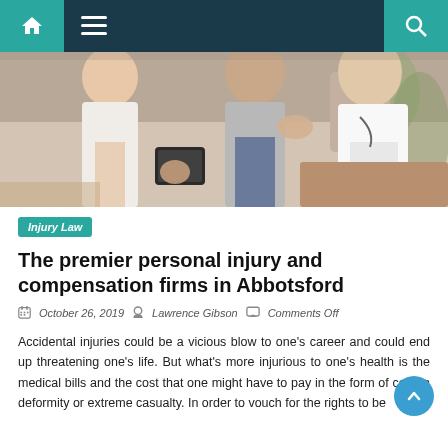Navigation bar with home, menu, and search icons
[Figure (photo): Medical scene showing a patient being examined by a doctor in a white coat while a nurse holds a tablet device]
Injury Law
The premier personal injury and compensation firms in Abbotsford
October 26, 2019   Lawrence Gibson   Comments Off
Accidental injuries could be a vicious blow to one's career and could end up threatening one's life. But what's more injurious to one's health is the medical bills and the cost that one might have to pay in the form of certain deformity or extreme casualty. In order to vouch for the rights to be